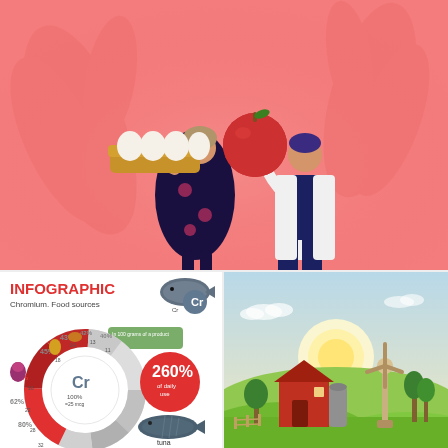[Figure (illustration): Two illustrated figures on a coral/salmon pink background with leaf decorations. Left figure: a woman in a dark floral dress holding a tray of eggs. Right figure: a person in a white lab coat holding a large red apple. Decorative leaf shapes in background.]
[Figure (infographic): Chromium food sources infographic. Title reads 'INFOGRAPHIC Chromium. Food sources'. Features circular donut chart with 'Cr' symbol and chromium element. Shows percentages: 57%, 45%, 62%, 80%, 43%, 42%, 40% with food images. Center shows '100% = 25 mcg'. Tuna fish labeled with 260% of daily use. Various food items with percentage values around the chart.]
[Figure (illustration): Pastoral farm scene illustration. Shows a red barn, windmill/wind turbine, green rolling hills, trees, and a warm sunset sky with a large white sun on the horizon.]